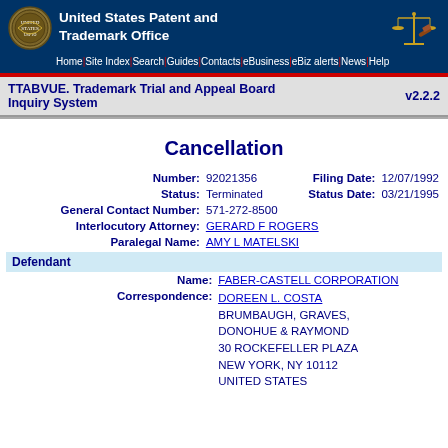United States Patent and Trademark Office
Home | Site Index | Search | Guides | Contacts | eBusiness | eBiz alerts | News | Help
TTABVUE. Trademark Trial and Appeal Board Inquiry System v2.2.2
Cancellation
| Field | Value |
| --- | --- |
| Number: | 92021356 |
| Filing Date: | 12/07/1992 |
| Status: | Terminated |
| Status Date: | 03/21/1995 |
| General Contact Number: | 571-272-8500 |
| Interlocutory Attorney: | GERARD F ROGERS |
| Paralegal Name: | AMY L MATELSKI |
Defendant
| Field | Value |
| --- | --- |
| Name: | FABER-CASTELL CORPORATION |
| Correspondence: | DOREEN L. COSTA
BRUMBAUGH, GRAVES,
DONOHUE & RAYMOND
30 ROCKEFELLER PLAZA
NEW YORK, NY 10112
UNITED STATES |